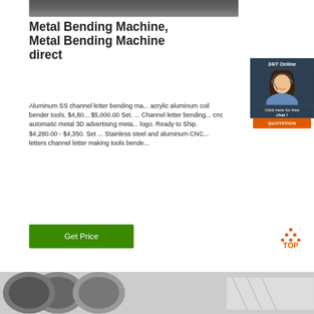[Figure (photo): Dark grey metal surface or machinery top image bar]
Metal Bending Machine, Metal Bending Machine direct
Aluminum SS channel letter bending ma... acrylic aluminum coil bender tools. $4,80... $5,000.00 Set. ... Channel letter bending... cnc automatic metal 3D advertising meta... logo. Ready to Ship. $4,280.00 - $4,350. Set ... Stainless steel and aluminum CNC... letters channel letter making tools bende...
[Figure (infographic): Chat widget with 24/7 Online label, woman with headset, Click here for free chat text, and QUOTATION orange button]
[Figure (logo): TOP icon with orange dots forming a triangle and TOP text]
[Figure (photo): Bottom image showing metal tubes/pipes and machinery]
Get Price